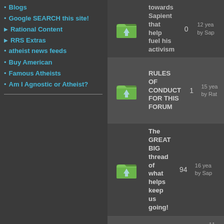Blogs
Google SEARCH this site!
Rational Content
RRS Extras
atheist news feeds
Buy American
Famous Atheists
Am I Agnostic or Atheist?
| icon | title | count | time |
| --- | --- | --- | --- |
| folder-up | towards Sapient that help fuel his activism | 0 | 12 yea... by Sap... |
| folder-up | RULES OF CONDUCT FOR THIS FORUM | 1 | 15 yea... by Rat... |
| folder-up | The GREAT BIG thread of what helps keep us going! | 94 | 16 yea... by Sap... |
| folder-locked | Advertisement | 0 | 11 yea... by Ano... |
| folder | Intelligent people less likely to believe in God | 0 | 12 yea... by Mar... |
| folder | Greed is god | 0 | 12 yea... by Athe... |
| folder | Australian atheists under attack | 0 | 12 yea... by Ath... |